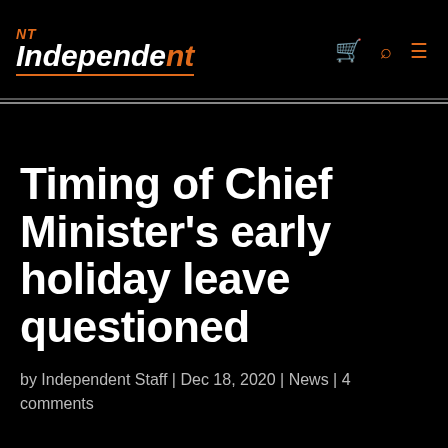NT Independent
Timing of Chief Minister's early holiday leave questioned
by Independent Staff | Dec 18, 2020 | News | 4 comments